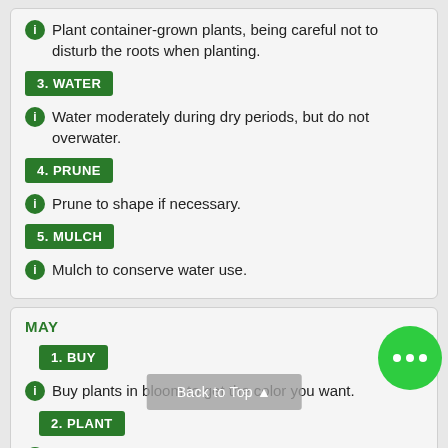3. WATER
Water moderately during dry periods, but do not overwater.
4. PRUNE
Prune to shape if necessary.
5. MULCH
Mulch to conserve water use.
MAY
1. BUY
Buy plants in bloom to get the color you want.
2. PLANT
Plant container-grown plants, being careful not to disturb the roots when planting.
3. WATER
Water moderately during dry periods, but do not overwater.